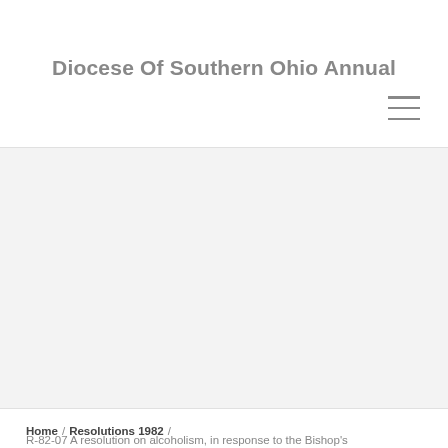Diocese Of Southern Ohio Annual
[Figure (other): Hamburger menu icon (three horizontal lines)]
[Figure (other): Large gray placeholder/banner area]
Home / Resolutions 1982 /
R-82-07 A resolution on alcoholism, in response to the Bishop's